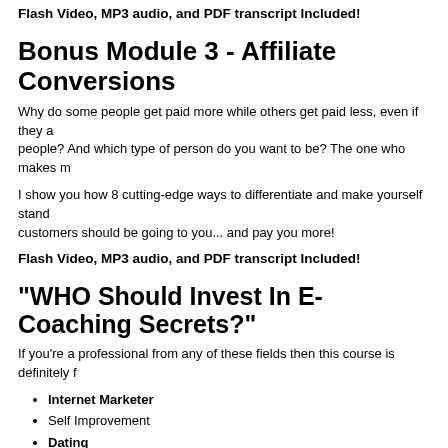Flash Video, MP3 audio, and PDF transcript Included!
Bonus Module 3 - Affiliate Conversions
Why do some people get paid more while others get paid less, even if they are selling the same people? And which type of person do you want to be? The one who makes more or less?
I show you how 8 cutting-edge ways to differentiate and make yourself stand out so that more customers should be going to you... and pay you more!
Flash Video, MP3 audio, and PDF transcript Included!
"WHO Should Invest In E-Coaching Secrets?"
If you're a professional from any of these fields then this course is definitely for you:
Internet Marketer
Self Improvement
Dating
Health and Fitness
General Business
Management
Consultation
Coaching